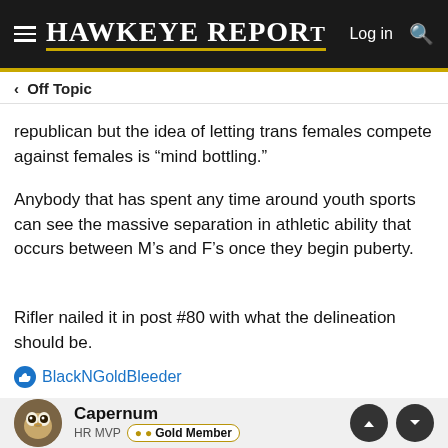Hawkeye Report — Log in
< Off Topic
republican but the idea of letting trans females compete against females is “mind bottling.”
Anybody that has spent any time around youth sports can see the massive separation in athletic ability that occurs between M’s and F’s once they begin puberty.
Rifler nailed it in post #80 with what the delineation should be.
BlackNGoldBleeder
Capernum
HR MVP  Gold Member